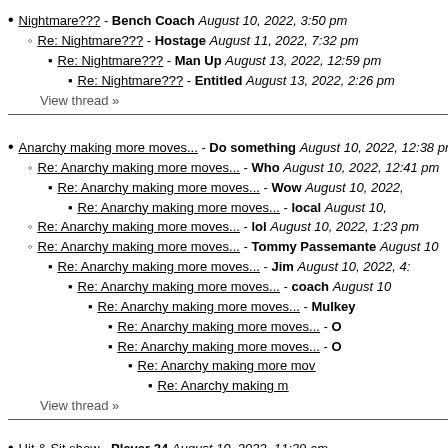Nightmare??? - Bench Coach August 10, 2022, 3:50 pm
Re: Nightmare??? - Hostage August 11, 2022, 7:32 pm
Re: Nightmare??? - Man Up August 13, 2022, 12:59 pm
Re: Nightmare??? - Entitled August 13, 2022, 2:26 pm
View thread »
Anarchy making more moves... - Do something August 10, 2022, 12:38 pm
Re: Anarchy making more moves... - Who August 10, 2022, 12:41 pm
Re: Anarchy making more moves... - Wow August 10, 2022,
Re: Anarchy making more moves... - local August 10,
Re: Anarchy making more moves... - lol August 10, 2022, 1:23 pm
Re: Anarchy making more moves... - Tommy Passemante August 10
Re: Anarchy making more moves... - Jim August 10, 2022, 4:
Re: Anarchy making more moves... - coach August 10
Re: Anarchy making more moves... - Mulkey
Re: Anarchy making more moves... - O
Re: Anarchy making more moves... - O
Re: Anarchy making more mov
Re: Anarchy making m
View thread »
Hit & Sit show - Player 24 August 10, 2022, 11:39 am
Re: Hit & Sit show - DW August 10, 2022, 12:44 pm
Re: Hit & Sit show - Theme 54 August 10, 2022, 1:47